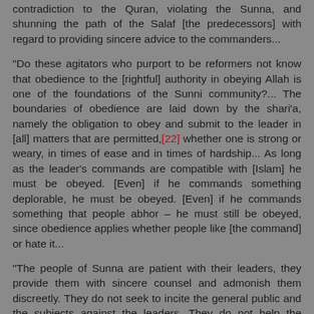contradiction to the Quran, violating the Sunna, and shunning the path of the Salaf [the predecessors] with regard to providing sincere advice to the commanders...
"Do these agitators who purport to be reformers not know that obedience to the [rightful] authority in obeying Allah is one of the foundations of the Sunni community?... The boundaries of obedience are laid down by the shari'a, namely the obligation to obey and submit to the leader in [all] matters that are permitted,[22] whether one is strong or weary, in times of ease and in times of hardship... As long as the leader's commands are compatible with [Islam] he must be obeyed. [Even] if he commands something deplorable, he must be obeyed. [Even] if he commands something that people abhor – he must still be obeyed, since obedience applies whether people like [the command] or hate it...
"The people of Sunna are patient with their leaders, they provide them with sincere counsel and admonish them discreetly. They do not seek to incite the general public and the subjects against the leaders. They do not help the infidels against their state and leaders. It is a well-known